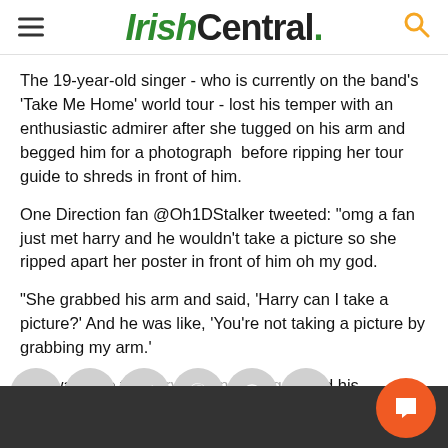IrishCentral.
The 19-year-old singer - who is currently on the band's 'Take Me Home' world tour - lost his temper with an enthusiastic admirer after she tugged on his arm and begged him for a photograph  before ripping her tour guide to shreds in front of him.
One Direction fan @Oh1DStalker tweeted: "omg a fan just met harry and he wouldn't take a picture so she ripped apart her poster in front of him oh my god.
"She grabbed his arm and said, 'Harry can I take a picture?' And he was like, 'You're not taking a picture by grabbing my arm.'
"He was nice to every girl on til he grabbed his a...ic)"